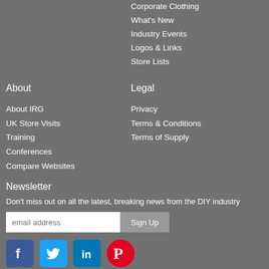Corporate Clothing
What's New
Industry Events
Logos & Links
Store Lists
About
Legal
About IRG
UK Store Visits
Training
Conferences
Compare Websites
Privacy
Terms & Conditions
Terms of Supply
Newsletter
Don't miss out on all the latest, breaking news from the DIY industry
[Figure (screenshot): Email address input field and Sign Up button for newsletter subscription]
[Figure (infographic): Social media icons for Facebook, Twitter, LinkedIn, and Pinterest]